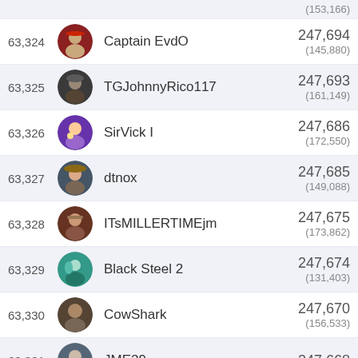(153,166) — partial row at top
63,324 | Captain EvdO | 247,694 (145,880)
63,325 | TGJohnnyRico117 | 247,693 (161,149)
63,326 | SirVick I | 247,686 (172,550)
63,327 | dtnox | 247,685 (149,088)
63,328 | ITsMILLERTIMEjm | 247,675 (173,862)
63,329 | Black Steel 2 | 247,674 (131,403)
63,330 | CowShark | 247,670 (156,533)
63,331 | JME29 | 247,668 — partial